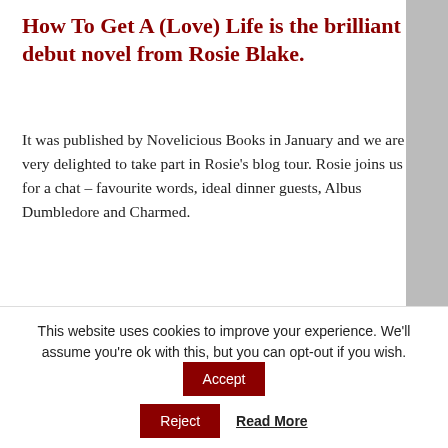How To Get A (Love) Life is the brilliant debut novel from Rosie Blake.
It was published by Novelicious Books in January and we are very delighted to take part in Rosie’s blog tour. Rosie joins us for a chat – favourite words, ideal dinner guests, Albus Dumbledore and Charmed.
Hi Rosie, can you tell us a little about How to Get a (Love) Life?
The story focusses on Nicola Brown, an uptight and introverted young woman who has never had a date on Valentine’s Day.
This website uses cookies to improve your experience. We'll assume you're ok with this, but you can opt-out if you wish.